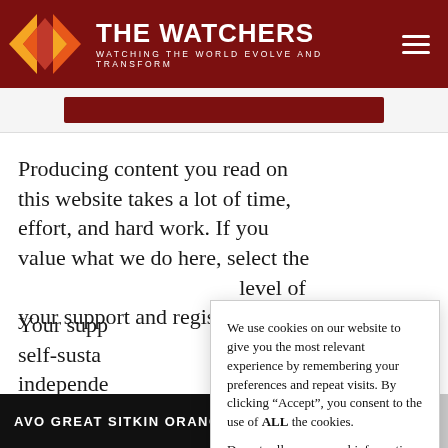THE WATCHERS — WATCHING THE WORLD EVOLVE AND TRANSFORM
Producing content you read on this website takes a lot of time, effort, and hard work. If you value what we do here, select the level of your support and register yo
Your supp self-susta independe we love to
We use cookies on our website to give you the most relevant experience by remembering your preferences and repeat visits. By clicking “Accept”, you consent to the use of ALL the cookies.
Do not sell my personal information.
Cookie settings   Accept
AVO GREAT SITKIN ORANGE/WATCH - SLOW ERUPTION OF L